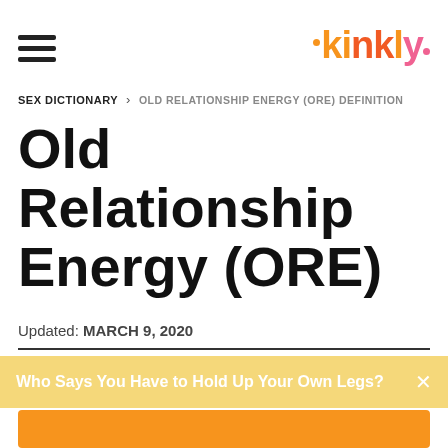kinkly
SEX DICTIONARY > OLD RELATIONSHIP ENERGY (ORE) DEFINITION
Old Relationship Energy (ORE)
Updated: MARCH 9, 2020
Old relationship energy is a term used to describe the feelings of stability, comfort, and security one feels in a
Who Says You Have to Hold Up Your Own Legs?